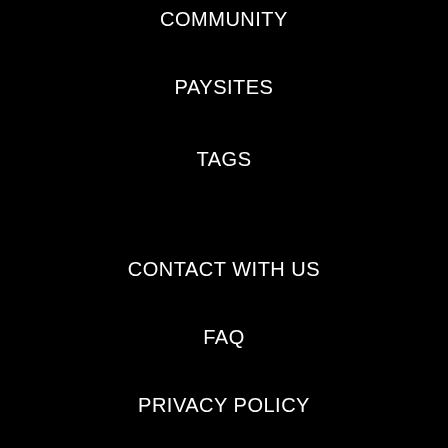COMMUNITY
PAYSITES
TAGS
CONTACT WITH US
FAQ
PRIVACY POLICY
REGULATIONS
We are pleased to announce our new wifepussypics.com Tube video. This time we have to delight you with the most incredible video on this page so famous for finding here thousands of beautiful girls doing everything you want. Enjoy a free porn tube on wifepussypics.com where only high rated and exclusive free xxx porn videos are available. Enjoy a place where tons of porn videos, watch starring some of the best porn sexy models are ready to delight and provide pleasure for any type of desire free porn videos xxx. Hot porn videos on the number one of sex